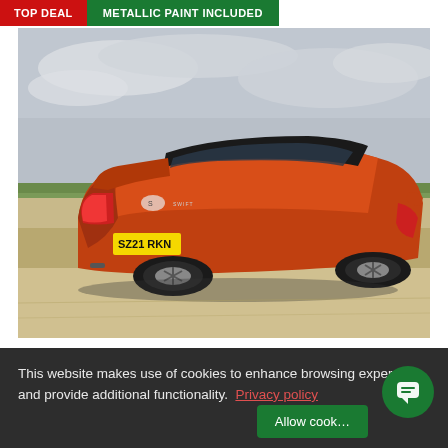TOP DEAL
METALLIC PAINT INCLUDED
[Figure (photo): Rear three-quarter view of an orange Suzuki Swift hatchback with black roof, registration plate SZ21 RKN, parked on a gravel/dirt area with green fields and grey cloudy sky in background.]
SUZUKI SWIFT HATCHBACK
This website makes use of cookies to enhance browsing experience and provide additional functionality. Privacy policy
Allow cook...